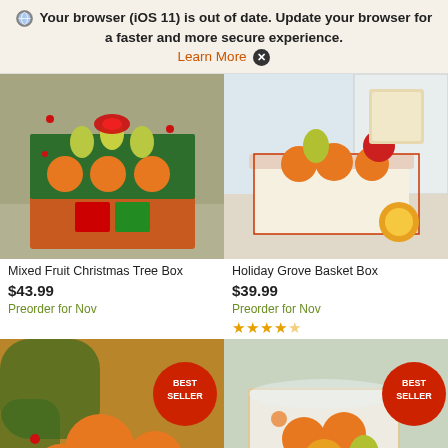Your browser (iOS 11) is out of date. Update your browser for a faster and more secure experience. Learn More ✕
[Figure (photo): Mixed Fruit Christmas Tree Box - a decorative fruit arrangement in the shape of a Christmas tree with oranges, pears, and a red bow on a gift box]
[Figure (photo): Holiday Grove Basket Box - a Christmas-themed basket filled with oranges, apples, pears and a cookie package, with sliced oranges beside it]
Mixed Fruit Christmas Tree Box
$43.99
Preorder for Nov
Holiday Grove Basket Box
$39.99
Preorder for Nov
★★★★½
[Figure (photo): Tangerines and clementines with holiday greenery, marked Best Seller badge]
[Figure (photo): Fruit gift bag with mixed citrus fruits and pears, marked Best Seller badge]